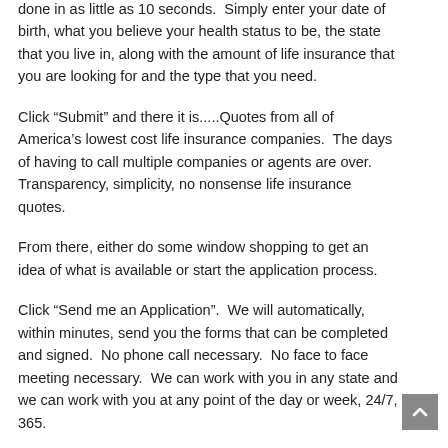done in as little as 10 seconds.  Simply enter your date of birth, what you believe your health status to be, the state that you live in, along with the amount of life insurance that you are looking for and the type that you need.
Click "Submit" and there it is.....Quotes from all of America's lowest cost life insurance companies.  The days of having to call multiple companies or agents are over.  Transparency, simplicity, no nonsense life insurance quotes.
From there, either do some window shopping to get an idea of what is available or start the application process.
Click "Send me an Application".  We will automatically, within minutes, send you the forms that can be completed and signed.  No phone call necessary.  No face to face meeting necessary.  We can work with you in any state and we can work with you at any point of the day or week, 24/7, 365.
The process for getting instant life insurance quotes and for applying is simple.  Feel free to arrange a call or face to face meeting if you prefer.